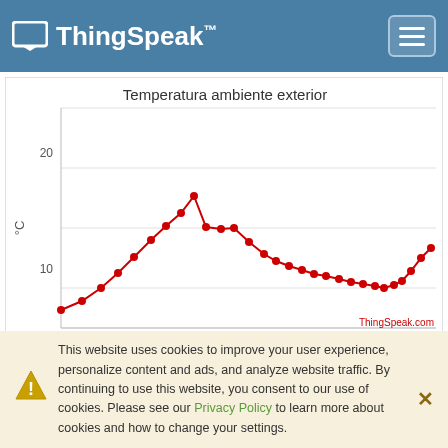ThingSpeak™
[Figure (line-chart): Temperatura ambiente exterior]
This website uses cookies to improve your user experience, personalize content and ads, and analyze website traffic. By continuing to use this website, you consent to our use of cookies. Please see our Privacy Policy to learn more about cookies and how to change your settings.